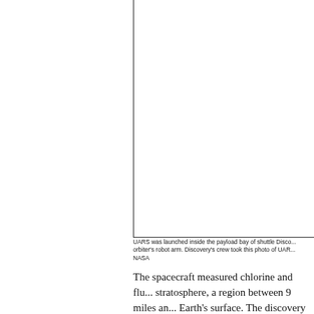[Figure (photo): Photo of UARS satellite being deployed from shuttle Discovery's payload bay using the orbiter's robot arm. Image is partially cropped/blank white in this view.]
UARS was launched inside the payload bay of shuttle Discovery and deployed using the orbiter's robot arm. Discovery's crew took this photo of UAR...
NASA
The spacecraft measured chlorine and flu... stratosphere, a region between 9 miles an... Earth's surface. The discovery confirmed... chlorofluorocarbons, or CFCs, used in ma... sprays, refrigerants and solvents caused b...